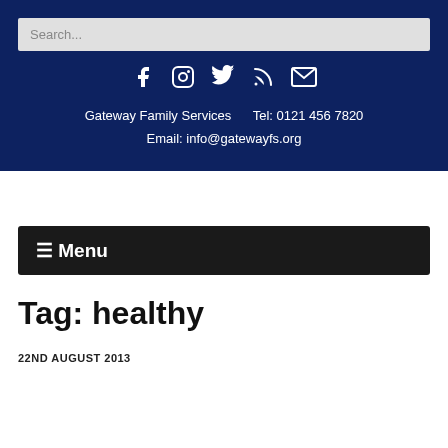Search...
[Figure (other): Social media icons: Facebook, Instagram, Twitter, RSS, Email]
Gateway Family Services    Tel: 0121 456 7820
Email: info@gatewayfs.org
☰ Menu
Tag: healthy
22ND AUGUST 2013